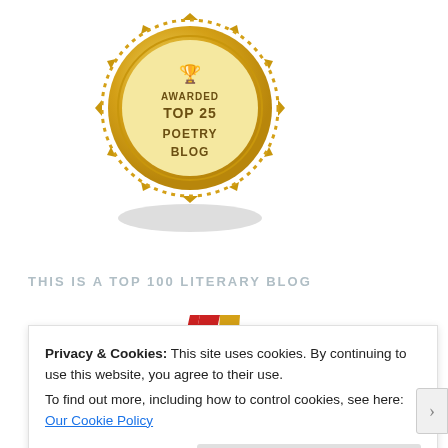[Figure (illustration): Gold award medal badge (partially cropped at top) with text 'AWARDED TOP 25 POETRY BLOG' in the center circle, surrounded by a decorative gold sunburst/gear border. A shadow appears below the medal.]
THIS IS A TOP 100 LITERARY BLOG
[Figure (illustration): Gold award medal with a red and gold ribbon/lanyard at top. The gold medal has a decorative sunburst border and text 'AWARDED' visible at the bottom, partially cropped.]
Privacy & Cookies: This site uses cookies. By continuing to use this website, you agree to their use.
To find out more, including how to control cookies, see here: Our Cookie Policy
Close and accept